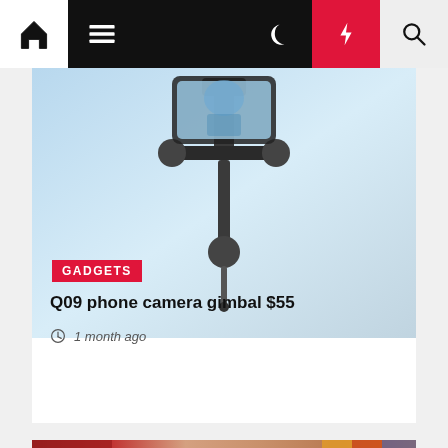Navigation bar with home, menu, moon, bolt, and search icons
[Figure (screenshot): Phone camera gimbal product photo on light blue background]
GADGETS
Q09 phone camera gimbal $55
1 month ago
[Figure (photo): Portrait photo of an older man with white hair smiling, with an American flag and colorful background behind him]
COMPUTER